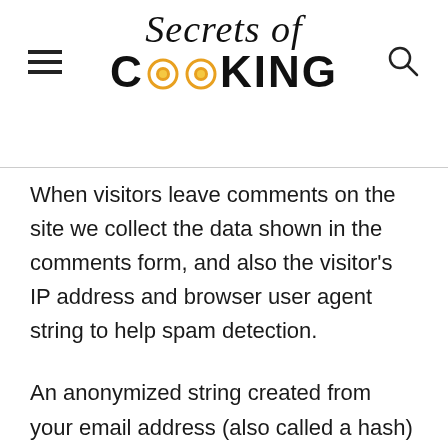Secrets of COOKING
When visitors leave comments on the site we collect the data shown in the comments form, and also the visitor's IP address and browser user agent string to help spam detection.
An anonymized string created from your email address (also called a hash) may be provided to the Gravatar service to see if you are using it. The Gravatar service privacy policy is available here: